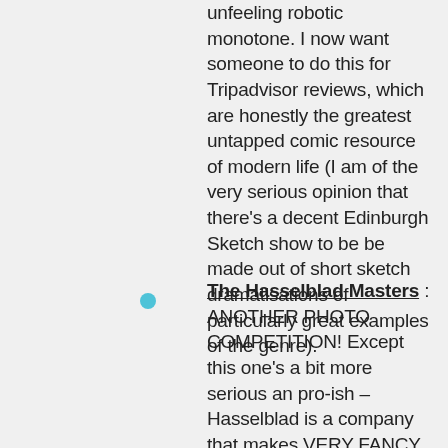unfeeling robotic monotone. I now want someone to do this for Tripadvisor reviews, which are honestly the greatest untapped comic resource of modern life (I am of the very serious opinion that there's a decent Edinburgh Sketch show to be be made out of short sketch dramatisations of particularly great examples of the genre).
The Hasselblad Masters : ANOTHER PHOTO COMPETITION! Except this one's a bit more serious an pro-ish – Hasselblad is a company that makes VERY FANCY and VERY EXPENSIVE cameras, and as such their photo contest is a touch more po-faced and pro-level. You won't get photos of derpy animals here, is what I'm